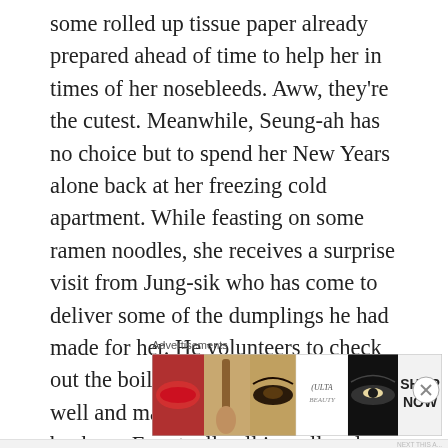some rolled up tissue paper already prepared ahead of time to help her in times of her nosebleeds. Aww, they're the cutest. Meanwhile, Seung-ah has no choice but to spend her New Years alone back at her freezing cold apartment. While feasting on some ramen noodles, she receives a surprise visit from Jung-sik who has come to deliver some of the dumplings he had made for her. He volunteers to check out the boiler for the apartment as well and manages to turn the heater back on. Eventually all is well and Seung-ah is rescued! Not only does Jung-sik fix Seung-ah's boiler, but he also cooks her some delicious
Advertisements
[Figure (photo): Advertisement banner for ULTA beauty showing close-up images of lips with red lipstick, a makeup brush, an eye with brown eyeshadow, the ULTA logo, an eye with dark smoky makeup, and a SHOP NOW call-to-action button.]